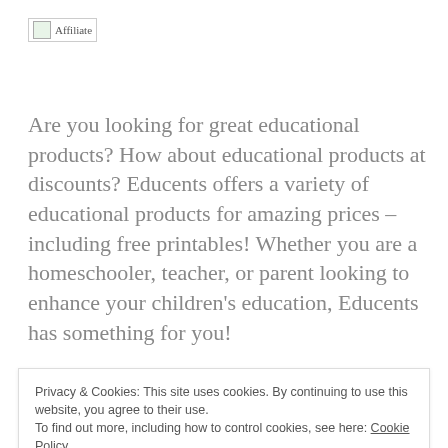[Figure (logo): Affiliate logo/image placeholder with icon and text]
Are you looking for great educational products? How about educational products at discounts? Educents offers a variety of educational products for amazing prices – including free printables! Whether you are a homeschooler, teacher, or parent looking to enhance your children's education, Educents has something for you!
Plus, Educents is offering Bag of Sweetness readers…
Privacy & Cookies: This site uses cookies. By continuing to use this website, you agree to their use. To find out more, including how to control cookies, see here: Cookie Policy
don't want to miss out!